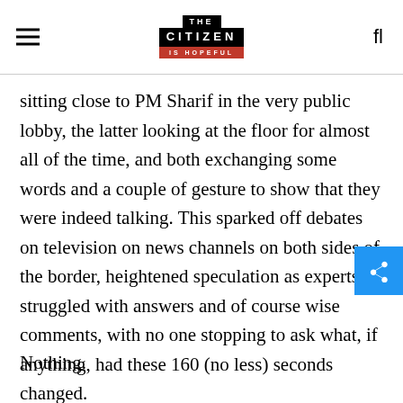THE CITIZEN IS HOPEFUL
sitting close to PM Sharif in the very public lobby, the latter looking at the floor for almost all of the time, and both exchanging some words and a couple of gesture to show that they were indeed talking. This sparked off debates on television on news channels on both sides of the border, heightened speculation as experts struggled with answers and of course wise comments, with no one stopping to ask what, if anything, had these 160 (no less) seconds changed.
Nothing.